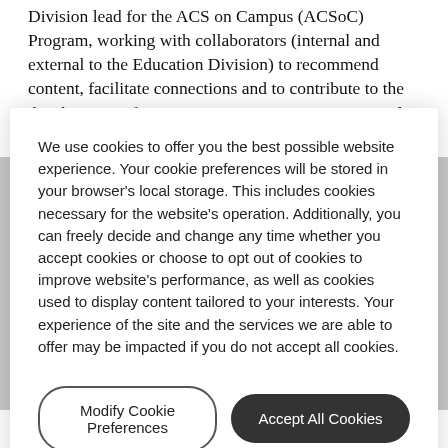Division lead for the ACS on Campus (ACSoC) Program, working with collaborators (internal and external to the Education Division) to recommend content, facilitate connections and to contribute to the development of ACSoC strategy. Post-COVID, travel will be required
We use cookies to offer you the best possible website experience. Your cookie preferences will be stored in your browser's local storage. This includes cookies necessary for the website's operation. Additionally, you can freely decide and change any time whether you accept cookies or choose to opt out of cookies to improve website's performance, as well as cookies used to display content tailored to your interests. Your experience of the site and the services we are able to offer may be impacted if you do not accept all cookies.
Modify Cookie Preferences
Accept All Cookies
international institutions, in addition to its alignment